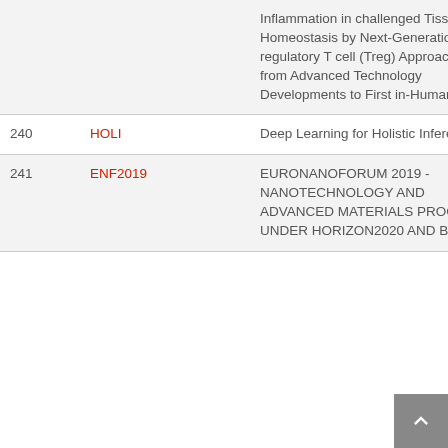| # | Code | Title |
| --- | --- | --- |
|  |  | Inflammation in challenged Tissue Homeostasis by Next-Generation regulatory T cell (Treg) Approaches – from Advanced Technology Developments to First in-Human Trials |
| 240 | HOLI | Deep Learning for Holistic Inference |
| 241 | ENF2019 | EURONANOFORUM 2019 - NANOTECHNOLOGY AND ADVANCED MATERIALS PROGRESS UNDER HORIZON2020 AND BEYOND |